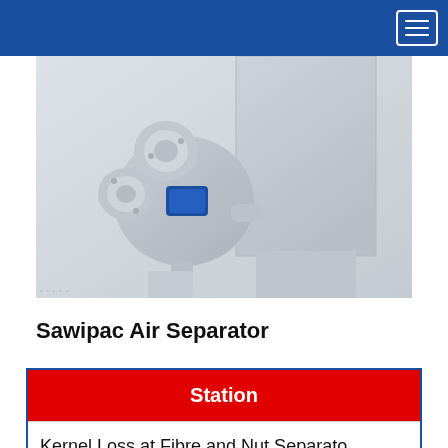[Figure (photo): Industrial air separator machine with blower motors and duct pipes mounted on a metal panel, photographed against a light grey background]
Sawipac Air Separator
| Station |
| --- |
| Kernel Loss at Fibre and Nut Separato |